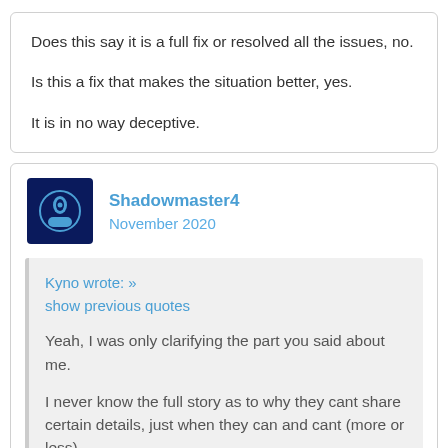Does this say it is a full fix or resolved all the issues, no.
Is this a fix that makes the situation better, yes.
It is in no way deceptive.
Shadowmaster4
November 2020
Kyno wrote: »
show previous quotes
Yeah, I was only clarifying the part you said about me.
I never know the full story as to why they cant share certain details, just when they can and cant (more or less).
I am not sent to do anything. I choose to do this. They never tell me to spread the word to the masses. I